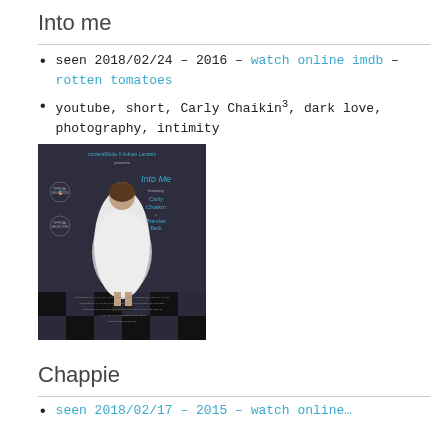Into me
seen 2018/02/24 – 2016 – watch online imdb – rotten tomatoes
youtube, short, Carly Chaikin³, dark love, photography, intimity
[Figure (photo): Movie poster for 'Into Me' featuring Carly Chaikin in a white feathered dress against a dark background with checkered floor. Text on poster: contentMode x Adnan Lazanis presents Into Me featuring Carly Chaikin + Brendan Beck. Film festival laurels visible on left side.]
Chappie
seen 2018/02/17 – 2015 – watch online...